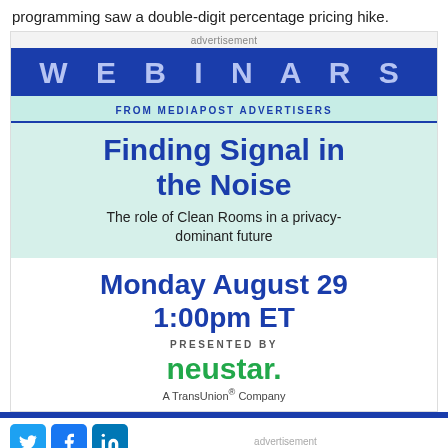programming saw a double-digit percentage pricing hike.
[Figure (infographic): Advertisement banner for a MediaPost Webinar titled 'Finding Signal in the Noise: The role of Clean Rooms in a privacy-dominant future', presented by Neustar (A TransUnion Company), on Monday August 29 at 1:00pm ET.]
advertisement